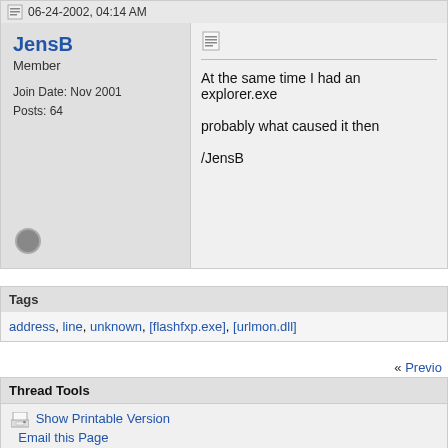06-24-2002, 04:14 AM
JensB
Member
Join Date: Nov 2001
Posts: 64
At the same time I had an explorer.exe

probably what caused it then

/JensB
Tags
address, line, unknown, [flashfxp.exe], [urlmon.dll]
« Previo
Thread Tools
Show Printable Version
Email this Page
Display Modes
Linear Mode
Switch to Hybrid Mode
Switch to Threaded Mode